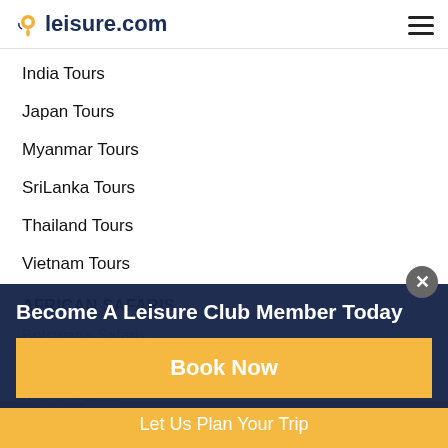leisure.com
India Tours
Japan Tours
Myanmar Tours
SriLanka Tours
Thailand Tours
Vietnam Tours
AFRICAN SAFARIS
Botswana Safaris
Gorilla Trekking
Kenya Safaris
Namibia Safaris
Rwanda Safaris
Become A Leisure Club Member Today
Book Now
Let Us Plan Your Trip